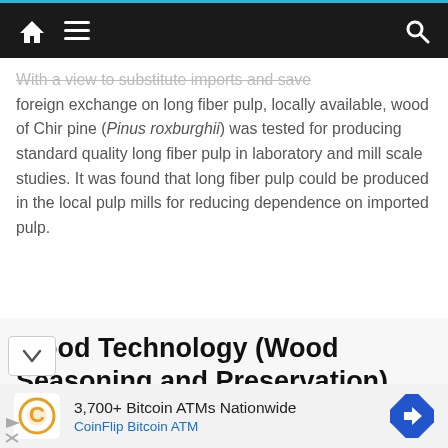Navigation bar with home, menu, and search icons
With a view to substitute imports and save foreign exchange on long fiber pulp, locally available, wood of Chir pine (Pinus roxburghii) was tested for producing standard quality long fiber pulp in laboratory and mill scale studies. It was found that long fiber pulp could be produced in the local pulp mills for reducing dependence on imported pulp.
Wood Technology (Wood Seasoning and Preservation)
[Figure (other): Advertisement banner: 3,700+ Bitcoin ATMs Nationwide — CoinFlip Bitcoin ATM, with CoinFlip logo and navigation arrow icon]